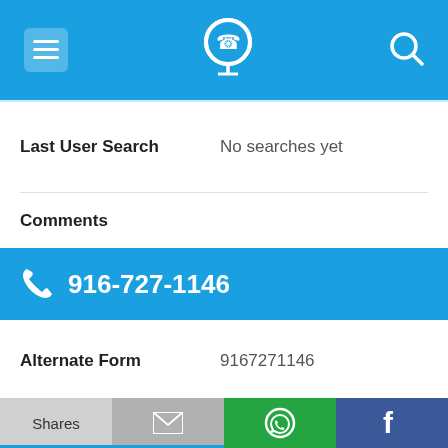[Figure (screenshot): Top navigation bar with menu icon, phone/location icon, and search icon on blue background]
Last User Search	No searches yet
Comments
916-727-1146
Alternate Form	9167271146
Caller name	2 Listings found
Last User Search	No searches yet
[Figure (screenshot): Bottom action bar with Shares, email, WhatsApp, and Facebook buttons]